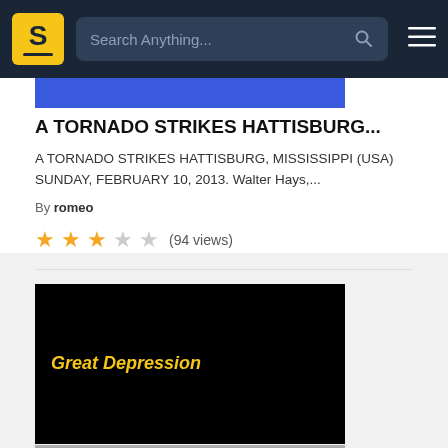Search Anything...
A TORNADO STRIKES HATTISBURG...
A TORNADO STRIKES HATTISBURG, MISSISSIPPI (USA) SUNDAY, FEBRUARY 10, 2013. Walter Hays,...
By romeo
(94 views)
[Figure (screenshot): Black slide thumbnail with yellow italic text reading 'Great Depression']
[Figure (screenshot): Gray gradient slide thumbnail, partially visible at bottom]